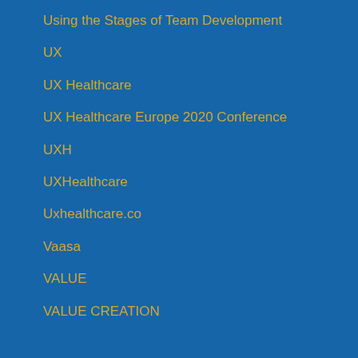Using the Stages of Team Development
UX
UX Healthcare
UX Healthcare Europe 2020 Conference
UXH
UXHealthcare
Uxhealthcare.co
Vaasa
VALUE
VALUE CREATION